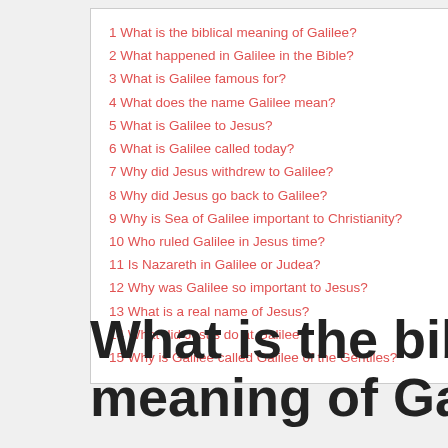1 What is the biblical meaning of Galilee?
2 What happened in Galilee in the Bible?
3 What is Galilee famous for?
4 What does the name Galilee mean?
5 What is Galilee to Jesus?
6 What is Galilee called today?
7 Why did Jesus withdrew to Galilee?
8 Why did Jesus go back to Galilee?
9 Why is Sea of Galilee important to Christianity?
10 Who ruled Galilee in Jesus time?
11 Is Nazareth in Galilee or Judea?
12 Why was Galilee so important to Jesus?
13 What is a real name of Jesus?
14 What did Jesus do at Galilee?
15 Why is Galilee called Galilee of the Gentiles?
What is the biblical meaning of Galilee?